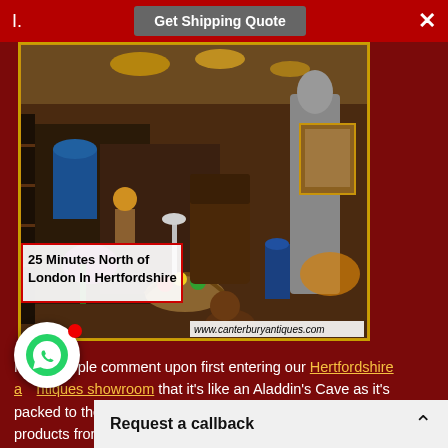I.    Get Shipping Quote    ×
[Figure (photo): Interior of an antique showroom packed with statues, vases, chandeliers, furniture and collectibles. Text overlay reads '25 Minutes North of London In Hertfordshire' and URL 'www.canterburyantiques.com']
Many people comment upon first entering our Hertfordshire antiques showroom that it's like an Aladdin's Cave as it's packed to the rafters with all sorts of goods. We source our products from